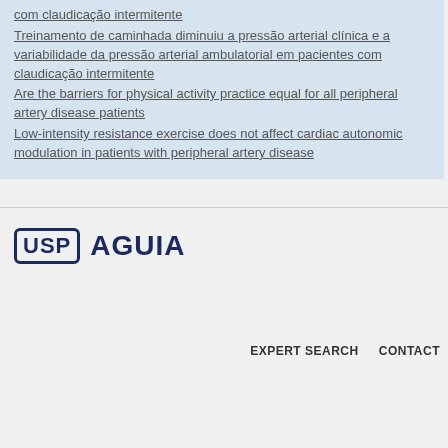com claudicação intermitente
Treinamento de caminhada diminuiu a pressão arterial clínica e a variabilidade da pressão arterial ambulatorial em pacientes com claudicação intermitente
Are the barriers for physical activity practice equal for all peripheral artery disease patients
Low-intensity resistance exercise does not affect cardiac autonomic modulation in patients with peripheral artery disease
[Figure (logo): USP AGUIA logo — USP in a rounded rectangle border followed by AGUIA in bold dark blue]
EXPERT SEARCH    CONTACT